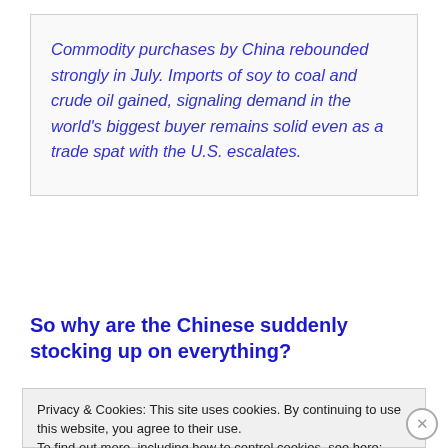Commodity purchases by China rebounded strongly in July. Imports of soy to coal and crude oil gained, signaling demand in the world's biggest buyer remains solid even as a trade spat with the U.S. escalates.
So why are the Chinese suddenly stocking up on everything?
Privacy & Cookies: This site uses cookies. By continuing to use this website, you agree to their use.
To find out more, including how to control cookies, see here: Cookie Policy
Close and accept